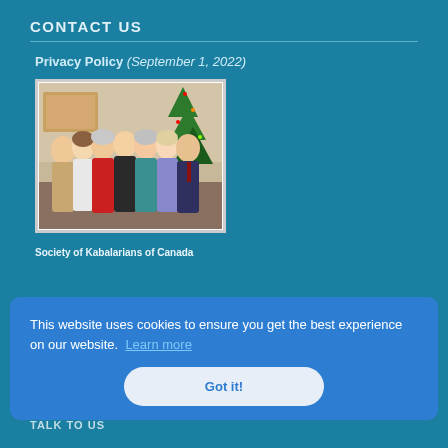CONTACT US
Privacy Policy (September 1, 2022)
[Figure (photo): Group photo of approximately 9-10 people posing together indoors, with a Christmas tree visible in the background. People are dressed in business/formal attire.]
Society of Kabalarians of Canada
This website uses cookies to ensure you get the best experience on our website. Learn more
Got it!
TALK TO US